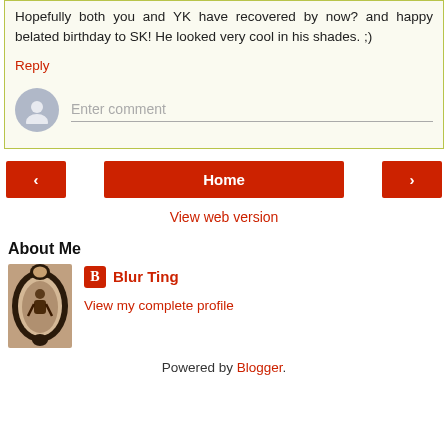Hopefully both you and YK have recovered by now? and happy belated birthday to SK! He looked very cool in his shades. ;)
Reply
[Figure (screenshot): Enter comment input field with user avatar placeholder on the left]
[Figure (screenshot): Navigation bar with left arrow, Home button, and right arrow buttons]
View web version
About Me
[Figure (photo): Profile photo of Blur Ting in ornate mirror frame]
Blur Ting
View my complete profile
Powered by Blogger.